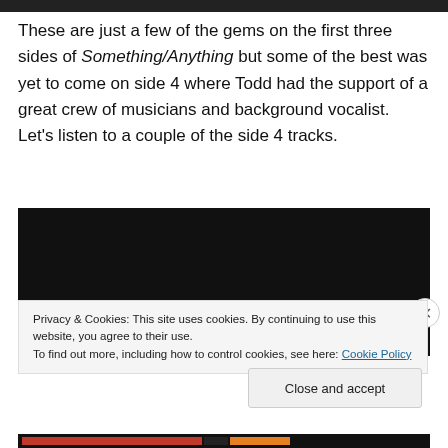These are just a few of the gems on the first three sides of Something/Anything but some of the best was yet to come on side 4 where Todd had the support of a great crew of musicians and background vocalist.  Let's listen to a couple of the side 4 tracks.
[Figure (screenshot): Black video player embed area]
Privacy & Cookies: This site uses cookies. By continuing to use this website, you agree to their use.
To find out more, including how to control cookies, see here: Cookie Policy
Close and accept